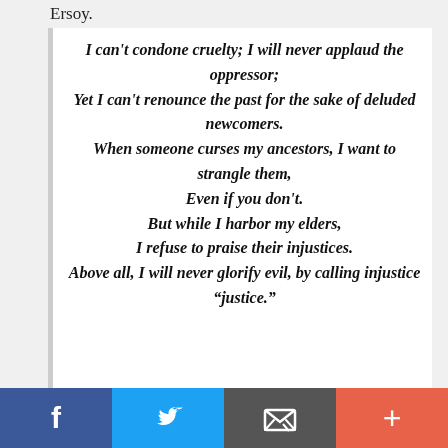Ersoy.
I can't condone cruelty; I will never applaud the oppressor;
Yet I can't renounce the past for the sake of deluded newcomers.
When someone curses my ancestors, I want to strangle them,
Even if you don't.
But while I harbor my elders,
I refuse to praise their injustices.
Above all, I will never glorify evil, by calling injustice "justice."
f  [twitter]  [email]  +